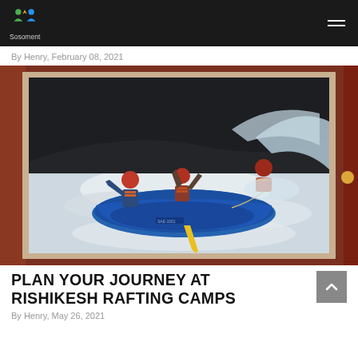Sosoment
By Henry, February 08, 2021
[Figure (photo): People in life vests and helmets on a blue inflatable raft navigating white-water rapids]
PLAN YOUR JOURNEY AT RISHIKESH RAFTING CAMPS
By Henry, May 26, 2021